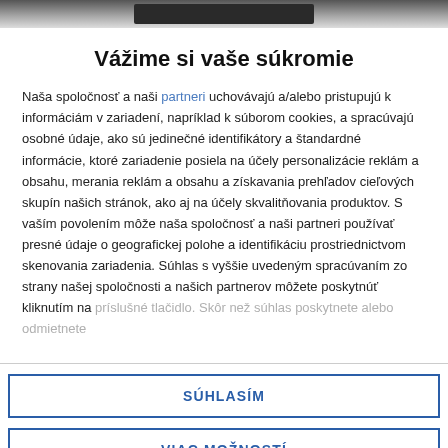[Figure (screenshot): Top banner image, dark bar on grey gradient background]
Vážime si vaše súkromie
Naša spoločnosť a naši partneri uchovávajú a/alebo pristupujú k informáciám v zariadení, napríklad k súborom cookies, a spracúvajú osobné údaje, ako sú jedinečné identifikátory a štandardné informácie, ktoré zariadenie posiela na účely personalizácie reklám a obsahu, merania reklám a obsahu a získavania prehľadov cieľových skupín našich stránok, ako aj na účely skvalitňovania produktov. S vaším povolením môže naša spoločnosť a naši partneri používať presné údaje o geografickej polohe a identifikáciu prostriednictvom skenovania zariadenia. Súhlas s vyššie uvedeným spracúvaním zo strany našej spoločnosti a našich partnerov môžete poskytnúť kliknutím na príslušné tlačidlo. Skôr než súhlas poskytnete alebo odmietnete
SÚHLASÍM
VIAC MOŽNOSTÍ